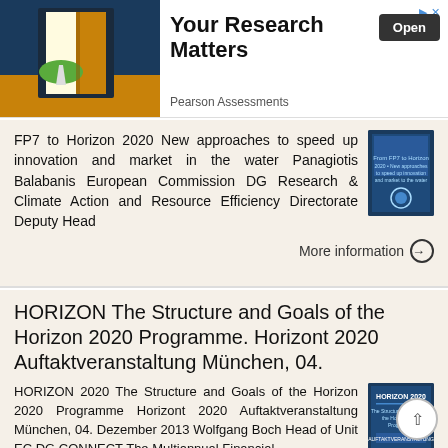[Figure (infographic): Advertisement banner: image of an open golden door on dark blue background on left; 'Your Research Matters' heading with 'Open' button and 'Pearson Assessments' subtitle on right]
FP7 to Horizon 2020 New approaches to speed up innovation and market in the water Panagiotis Balabanis European Commission DG Research & Climate Action and Resource Efficiency Directorate Deputy Head
More information →
HORIZON The Structure and Goals of the Horizon 2020 Programme. Horizont 2020 Auftaktveranstaltung München, 04.
HORIZON 2020 The Structure and Goals of the Horizon 2020 Programme Horizont 2020 Auftaktveranstaltung München, 04. Dezember 2013 Wolfgang Boch Head of Unit EC DG CONNECT The Multiannual Financial